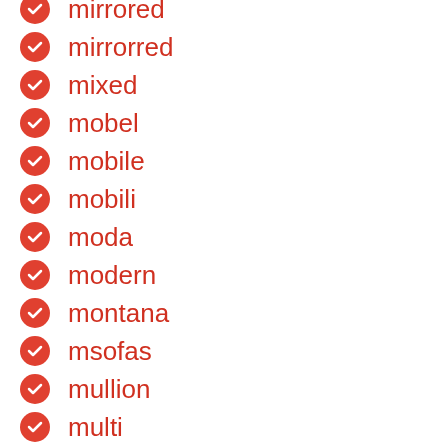mirrored
mirrorred
mixed
mobel
mobile
mobili
moda
modern
montana
msofas
mullion
multi
muscle
mutil-tier
mycole
narrow
natural
nautical
nebraska
never